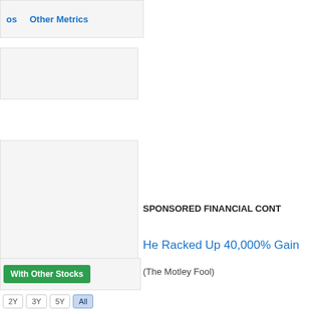os   Other Metrics
[Figure (screenshot): Light gray input/search box (empty)]
s on a company's
SPONSORED FINANCIAL CONT
He Racked Up 40,000% Gain
(The Motley Fool)
[Figure (screenshot): Green button labeled 'With Other Stocks']
2Y   3Y   5Y   All